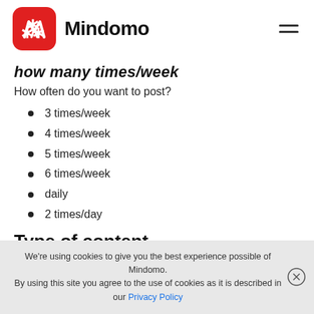Mindomo
how many times/week
How often do you want to post?
3 times/week
4 times/week
5 times/week
6 times/week
daily
2 times/day
Type of content
We're using cookies to give you the best experience possible of Mindomo. By using this site you agree to the use of cookies as it is described in our Privacy Policy